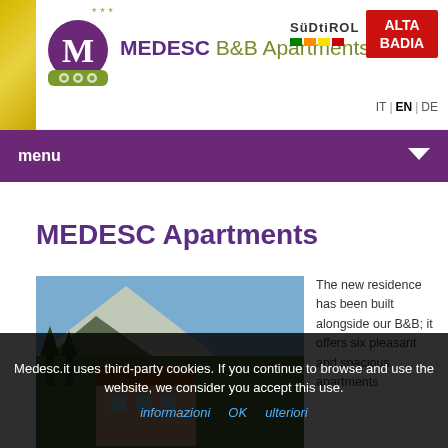[Figure (logo): MEDESC B&B Apartments logo with purple M letter, decorative flowers, three stars, and text MEDESC B&B Apartments]
[Figure (logo): Südtirol regional logo with colored stripes]
[Figure (logo): Alta Badia logo in red]
IT | EN | DE
menu
MEDESC Apartments
[Figure (photo): Photo of MEDESC apartment building with mountain backdrop and green trees]
The new residence has been built alongside our B&B; it offers six pleasant and spacious apartments
Medesc.it uses third-party cookies. If you continue to browse and use the website, we consider you accept this use.
ulteriori informazioni   OK